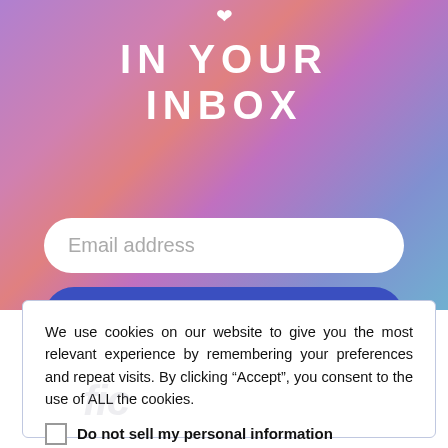IN YOUR INBOX
[Figure (screenshot): Email subscription form with gradient background, email input field, and SUBSCRIBE button]
We use cookies on our website to give you the most relevant experience by remembering your preferences and repeat visits. By clicking “Accept”, you consent to the use of ALL the cookies.
Do not sell my personal information
Cookie settings
Accept